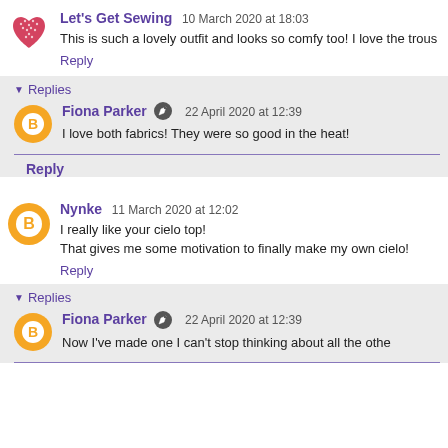Let's Get Sewing  10 March 2020 at 18:03
This is such a lovely outfit and looks so comfy too! I love the trous
Reply
Replies
Fiona Parker  22 April 2020 at 12:39
I love both fabrics! They were so good in the heat!
Reply
Nynke  11 March 2020 at 12:02
I really like your cielo top!
That gives me some motivation to finally make my own cielo!
Reply
Replies
Fiona Parker  22 April 2020 at 12:39
Now I've made one I can't stop thinking about all the othe